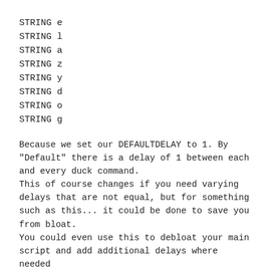STRING e
STRING l
STRING a
STRING z
STRING y
STRING d
STRING o
STRING g
Because we set our DEFAULTDELAY to 1. By "Default" there is a delay of 1 between each and every duck command.
This of course changes if you need varying delays that are not equal, but for something such as this... it could be done to save you from bloat.
You could even use this to debloat your main script and add additional delays where needed by using DELAY in a manner like you already are, whilst